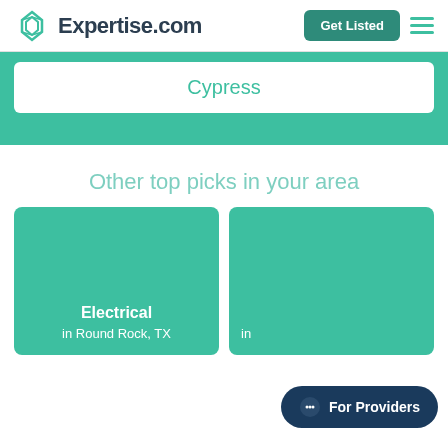Expertise.com
Cypress
Other top picks in your area
Electrical in Round Rock, TX
For Providers